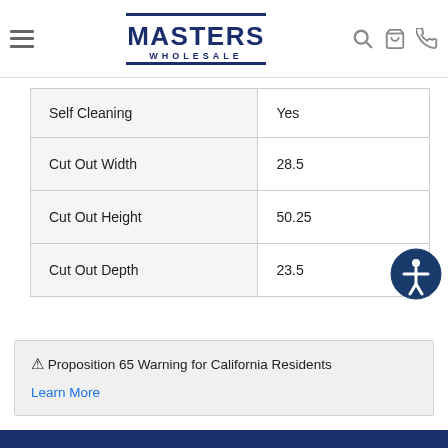Masters Wholesale - navigation header
| Self Cleaning | Yes |
| Cut Out Width | 28.5 |
| Cut Out Height | 50.25 |
| Cut Out Depth | 23.5 |
⚠ Proposition 65 Warning for California Residents
Learn More